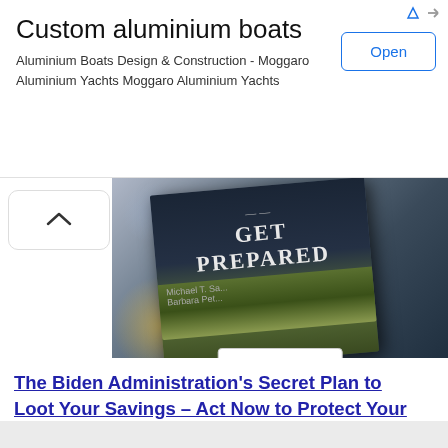[Figure (screenshot): Advertisement banner for custom aluminium boats with 'Open' button]
Custom aluminium boats
Aluminium Boats Design & Construction - Moggaro Aluminium Yachts Moggaro Aluminium Yachts
[Figure (photo): Book advertisement for 'Get Prepared Now' showing a book cover with the title, an Amazon buy button beneath it]
The Biden Administration's Secret Plan to Loot Your Savings – Act Now to Protect Your